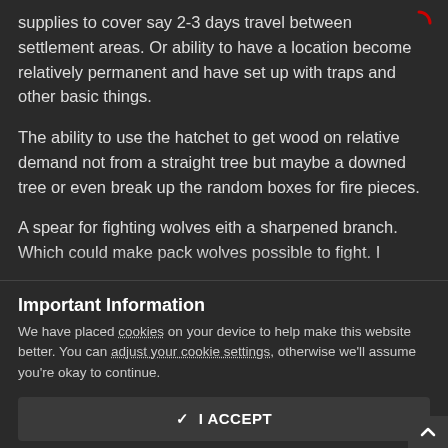supplies to cover say 2-3 days travel between settlement areas. Or ability to have a location become relatively permanent and have set up with traps and other basic things.
The ability to use the hatchet to get wood on relative demand not from a straight tree but maybe a downed tree or even break up the random boxes for fire pieces.
A spear for fighting wolves eith a sharpened branch. Which could make pack wolves possible to fight. I
Important Information
We have placed cookies on your device to help make this website better. You can adjust your cookie settings, otherwise we'll assume you're okay to continue.
✓  I ACCEPT